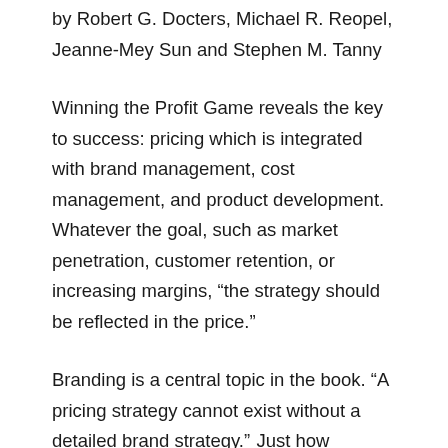by Robert G. Docters, Michael R. Reopel, Jeanne-Mey Sun and Stephen M. Tanny
Winning the Profit Game reveals the key to success: pricing which is integrated with brand management, cost management, and product development. Whatever the goal, such as market penetration, customer retention, or increasing margins, “the strategy should be reflected in the price.”
Branding is a central topic in the book. “A pricing strategy cannot exist without a detailed brand strategy.” Just how important is the effect of brand